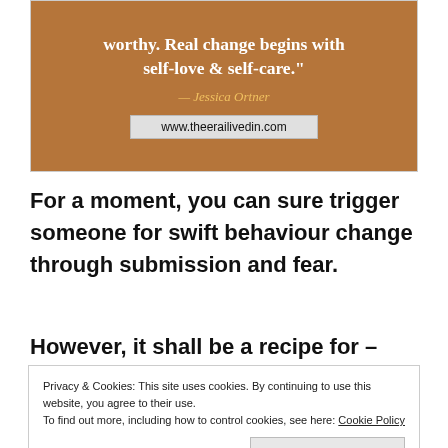[Figure (other): Brown/tan quote box with white bold text: 'worthy. Real change begins with self-love & self-care."', gold italic attribution '— Jessica Ortner', and a light grey URL box reading 'www.theerailivedin.com']
For a moment, you can sure trigger someone for swift behaviour change through submission and fear.
However, it shall be a recipe for –
Privacy & Cookies: This site uses cookies. By continuing to use this website, you agree to their use.
To find out more, including how to control cookies, see here: Cookie Policy
[Close and accept]
Resentment in the person being humiliated